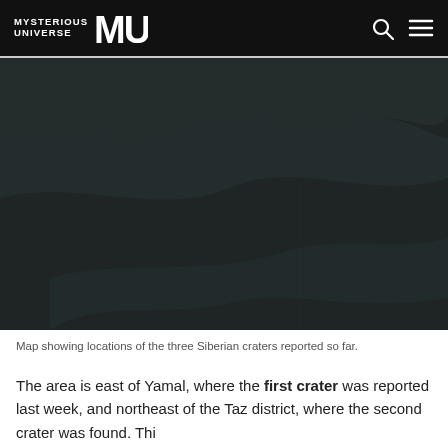MYSTERIOUS UNIVERSE MU
[Figure (map): Dark map showing locations of the three Siberian craters reported so far. The map appears to show a geographic region of Russia/Siberia with minimal detail visible against a dark background.]
Map showing locations of the three Siberian craters reported so far.
The area is east of Yamal, where the first crater was reported last week, and northeast of the Taz district, where the second crater was found. This